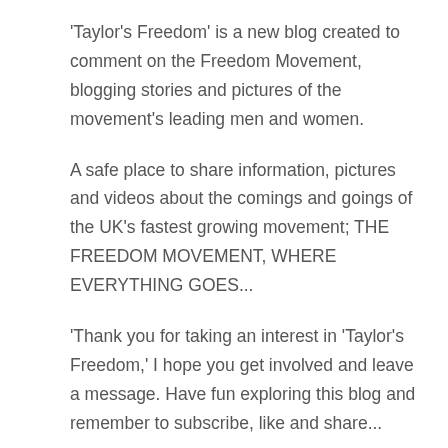'Taylor's Freedom' is a new blog created to comment on the Freedom Movement, blogging stories and pictures of the movement's leading men and women.
A safe place to share information, pictures and videos about the comings and goings of the UK's fastest growing movement; THE FREEDOM MOVEMENT, WHERE EVERYTHING GOES...
'Thank you for taking an interest in 'Taylor's Freedom,' I hope you get involved and leave a message. Have fun exploring this blog and remember to subscribe, like and share...